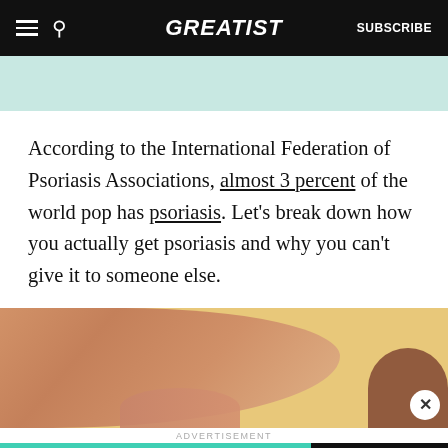GREATIST | SUBSCRIBE
[Figure (photo): Teal/mint colored decorative strip at top of article]
According to the International Federation of Psoriasis Associations, almost 3 percent of the world pop has psoriasis. Let's break down how you actually get psoriasis and why you can't give it to someone else.
[Figure (photo): Photo of a person's arm/skin against a yellow background, showing skin condition]
ADVERTISEMENT
[Figure (infographic): Advertisement banner: 'Get the health & wellness stuff that matters.' with a SUBSCRIBE button on teal/mint background]